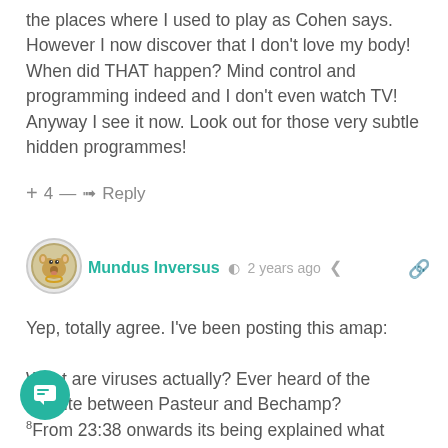the places where I used to play as Cohen says. However I now discover that I don't love my body! When did THAT happen? Mind control and programming indeed and I don't even watch TV! Anyway I see it now. Look out for those very subtle hidden programmes!
+ 4 — ➜ Reply
[Figure (illustration): User avatar showing an animal/mascot icon in circular frame]
Mundus Inversus  🕐 2 years ago  < (share icon) 🔗
Yep, totally agree. I've been posting this amap:

What are viruses actually? Ever heard of the dispute between Pasteur and Bechamp?
8From 23:38 onwards its being explained what viruses [are]: a waste product from our OWN cells to dissolve the toxic waste in our cells. Only when our immune